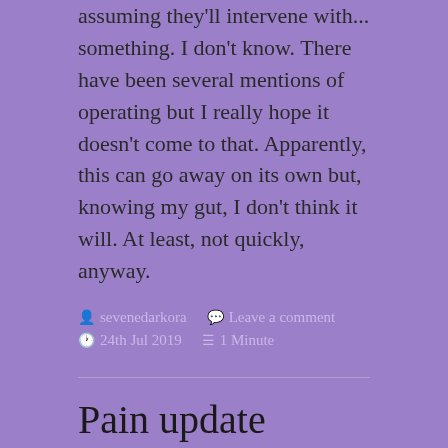assuming they'll intervene with... something. I don't know. There have been several mentions of operating but I really hope it doesn't come to that. Apparently, this can go away on its own but, knowing my gut, I don't think it will. At least, not quickly, anyway.
sevenedarkora   Leave a comment
24th Jul 2019   1 Minute
Pain update
The pain around my stoma has lessened over the weekend and the amount of gas passing has also reduced a bit. I suspect there was a tiny